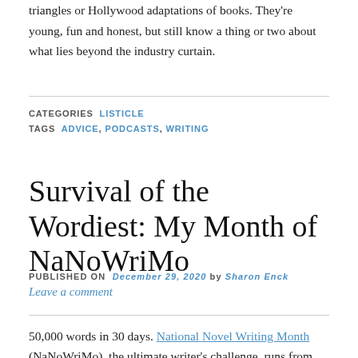triangles or Hollywood adaptations of books. They're young, fun and honest, but still know a thing or two about what lies beyond the industry curtain.
CATEGORIES LISTICLE
TAGS ADVICE, PODCASTS, WRITING
Survival of the Wordiest: My Month of NaNoWriMo
PUBLISHED ON December 29, 2020 by Sharon Enck
Leave a comment
50,000 words in 30 days. National Novel Writing Month (NaNoWriMo), the ultimate writer's challenge, runs from